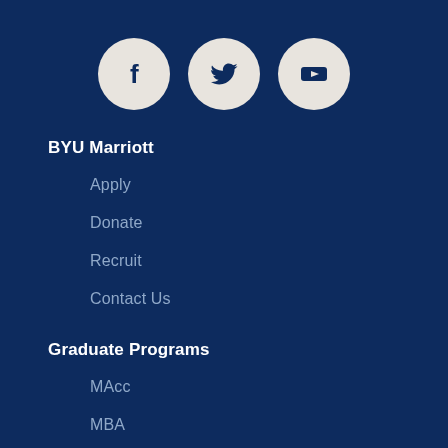[Figure (illustration): Three circular social media icons on dark blue background: Facebook (f), Twitter (bird), YouTube (play button triangle)]
BYU Marriott
Apply
Donate
Recruit
Contact Us
Graduate Programs
MAcc
MBA